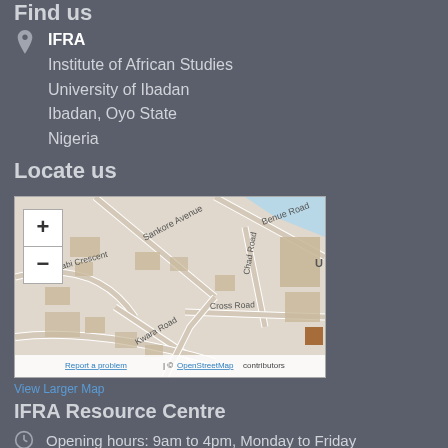Find us
IFRA
Institute of African Studies
University of Ibadan
Ibadan, Oyo State
Nigeria
Locate us
[Figure (map): OpenStreetMap showing location near University of Ibadan, with street labels: Sankore Avenue, Benue Road, Chad Road, Lishabi Crescent, Kwara Road, Cross Road. Map includes zoom in/out controls and attribution: Report a problem | © OpenStreetMap contributors]
View Larger Map
IFRA Resource Centre
Opening hours: 9am to 4pm, Monday to Friday